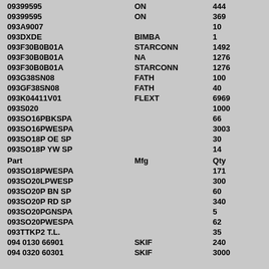| Part | Mfg | Qty |
| --- | --- | --- |
| 09399595 | ON | 444 |
| 09399595 | ON | 369 |
| 093A9007 |  | 10 |
| 093DXDE | BIMBA | 1 |
| 093F30B0B01A | STARCONN | 1492 |
| 093F30B0B01A | NA | 1276 |
| 093F30B0B01A | STARCONN | 1276 |
| 093G38SN08 | FATH | 100 |
| 093GF38SN08 | FATH | 40 |
| 093K04411V01 | FLEXT | 6969 |
| 093S020 |  | 1000 |
| 093SO16PBKSPA |  | 66 |
| 093SO16PWESPA |  | 3003 |
| 093SO18P OE SP |  | 30 |
| 093SO18P YW SP |  | 14 |
| Part | Mfg | Qty |
| 093SO18PWESPA |  | 171 |
| 093SO20LPWESP |  | 300 |
| 093SO20P BN SP |  | 60 |
| 093SO20P RD SP |  | 340 |
| 093SO20PGNSPA |  | 5 |
| 093SO20PWESPA |  | 62 |
| 093TTKP2 T.L. |  | 35 |
| 094 0130 66901 | SKIF | 240 |
| 094 0320 60301 | SKIF | 3000 |